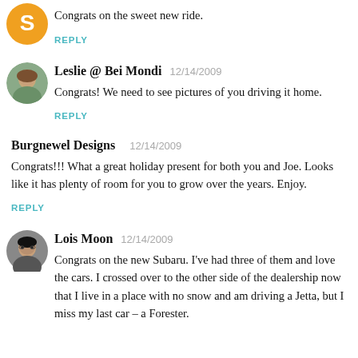[Figure (illustration): Orange circular avatar/logo at top left]
Congrats on the sweet new ride.
REPLY
[Figure (photo): Circular avatar photo of Leslie @ Bei Mondi]
Leslie @ Bei Mondi  12/14/2009
Congrats! We need to see pictures of you driving it home.
REPLY
Burgnewel Designs  12/14/2009
Congrats!!! What a great holiday present for both you and Joe. Looks like it has plenty of room for you to grow over the years. Enjoy.
REPLY
[Figure (photo): Circular avatar photo of Lois Moon]
Lois Moon  12/14/2009
Congrats on the new Subaru. I've had three of them and love the cars. I crossed over to the other side of the dealership now that I live in a place with no snow and am driving a Jetta, but I miss my last car – a Forester.